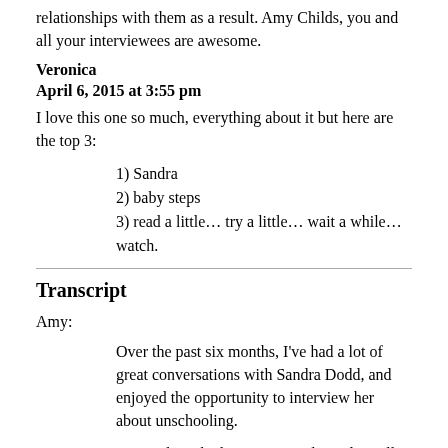relationships with them as a result. Amy Childs, you and all your interviewees are awesome.
Veronica
April 6, 2015 at 3:55 pm
I love this one so much, everything about it but here are the top 3:
1) Sandra
2) baby steps
3) read a little… try a little… wait a while… watch.
Transcript
Amy:
Over the past six months, I've had a lot of great conversations with Sandra Dodd, and enjoyed the opportunity to interview her about unschooling.
Once I'd reached my 50-episode goal, I still had a lot of recordings left with Sandra that I wanted to share. So that's what we have for this episode—all the other things that Sandra said—today, on The